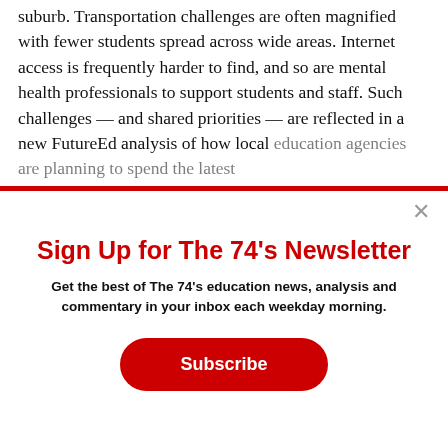suburb. Transportation challenges are often magnified with fewer students spread across wide areas. Internet access is frequently harder to find, and so are mental health professionals to support students and staff. Such challenges — and shared priorities — are reflected in a new FutureEd analysis of how local education agencies are planning to spend the latest
Sign Up for The 74's Newsletter
Get the best of The 74's education news, analysis and commentary in your inbox each weekday morning.
Subscribe